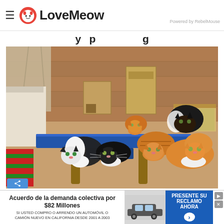≡ LoveMeow — Powered by RebelMouse
…y p…g…
[Figure (photo): Six kittens of various colors (black-and-white, orange tabby, black, orange-and-white) lounging on a blue cat tree platform in a wood-paneled room with cardboard boxes and cat litter trays in the background.]
Acuerdo de la demanda colectiva por $82 Millones SI USTED COMPRO O ARRENDO UN AUTOMÓVIL O CAMIÓN NUEVO EN CALIFORNIA DESDE 2001 A 2003 — PRESENTE SU RECLAMO AHORA